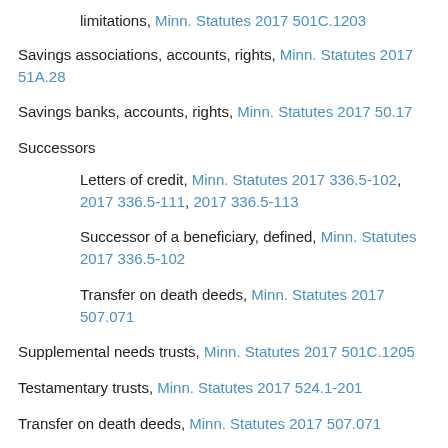limitations, Minn. Statutes 2017 501C.1203
Savings associations, accounts, rights, Minn. Statutes 2017 51A.28
Savings banks, accounts, rights, Minn. Statutes 2017 50.17
Successors
Letters of credit, Minn. Statutes 2017 336.5-102, 2017 336.5-111, 2017 336.5-113
Successor of a beneficiary, defined, Minn. Statutes 2017 336.5-102
Transfer on death deeds, Minn. Statutes 2017 507.071
Supplemental needs trusts, Minn. Statutes 2017 501C.1205
Testamentary trusts, Minn. Statutes 2017 524.1-201
Transfer on death deeds, Minn. Statutes 2017 507.071
Transfer on death titles